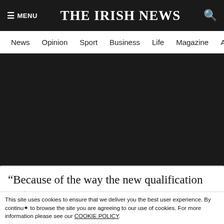THE IRISH NEWS
News  Opinion  Sport  Business  Life  Magazine  Arts
[Figure (other): Black advertisement/image placeholder area]
“Because of the way the new qualification system works for the Olympics, this year is basically preparing yourself for next year, that’s when things
This site uses cookies to ensure that we deliver you the best user experience. By continuing to browse the site you are agreeing to our use of cookies. For more information please see our COOKIE POLICY